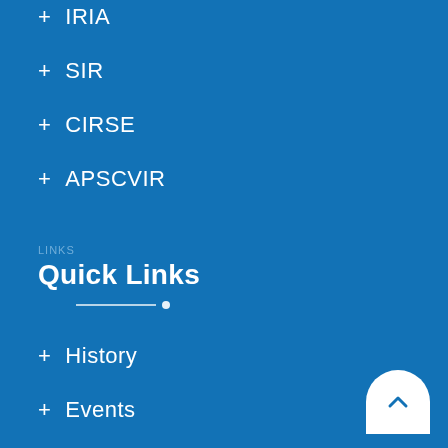+ IRIA
+ SIR
+ CIRSE
+ APSCVIR
Quick Links
+ History
+ Events
+ FellowShip
+ Presidential Address